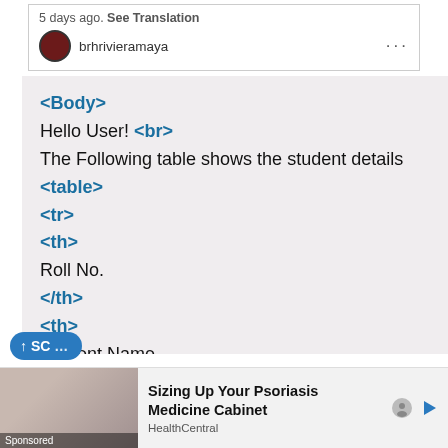[Figure (screenshot): Top social media post header showing '5 days ago. See Translation' and user avatar with username 'brhrivieramaya' and ellipsis menu]
<Body>
Hello User! <br>
The Following table shows the student details
<table>
<tr>
<th>
Roll No.
</th>
<th>
Student Name
</th>
<th>
[Figure (screenshot): Advertisement banner: 'Sizing Up Your Psoriasis Medicine Cabinet' from HealthCentral with sponsored image]